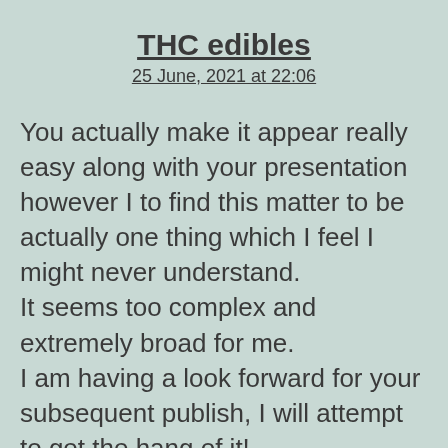THC edibles
25 June, 2021 at 22:06
You actually make it appear really easy along with your presentation however I to find this matter to be actually one thing which I feel I might never understand. It seems too complex and extremely broad for me. I am having a look forward for your subsequent publish, I will attempt to get the hang of it!
Check out my page: THC edibles